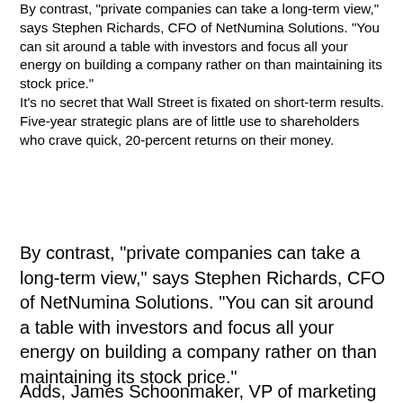By contrast, "private companies can take a long-term view," says Stephen Richards, CFO of NetNumina Solutions. "You can sit around a table with investors and focus all your energy on building a company rather on than maintaining its stock price." It's no secret that Wall Street is fixated on short-term results. Five-year strategic plans are of little use to shareholders who crave quick, 20-percent returns on their money.
By contrast, "private companies can take a long-term view," says Stephen Richards, CFO of NetNumina Solutions. "You can sit around a table with investors and focus all your energy on building a company rather on than maintaining its stock price."
Adds, James Schoonmaker, VP of marketing at